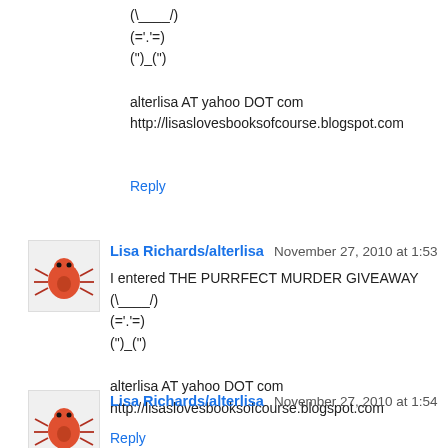(\_____/)
(='.'=)
(")_(")

alterlisa AT yahoo DOT com
http://lisaslovesbooksofcourse.blogspot.com
Reply
Lisa Richards/alterlisa  November 27, 2010 at 1:53 AM
I entered THE PURRFECT MURDER GIVEAWAY
(\_____/)
(='.'=)
(")_(")

alterlisa AT yahoo DOT com
http://lisaslovesbooksofcourse.blogspot.com
Reply
Lisa Richards/alterlisa  November 27, 2010 at 1:54 AM